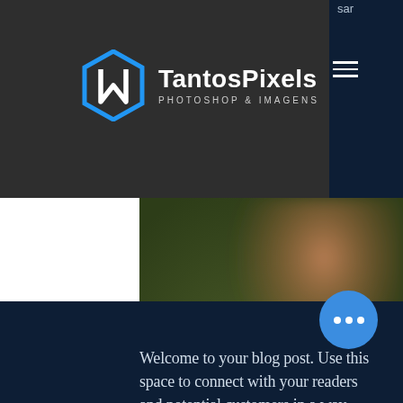TantosPixels PHOTOSHOP & IMAGENS
[Figure (photo): Blurred outdoor photo with green and orange tones, appears to show ground/nature scene]
Welcome to your blog post. Use this space to connect with your readers and potential customers in a way that's current and interesting. Think of it as an ongoing conversation wh... you can share updates about business, trends, news, and more